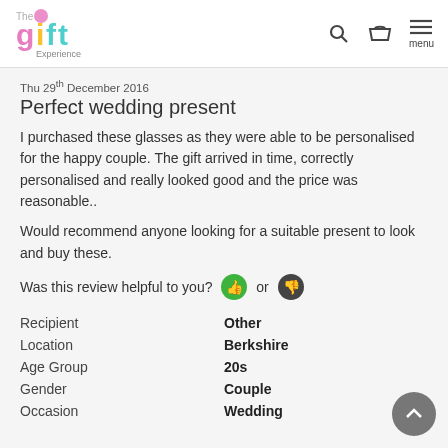[Figure (logo): The Gift Experience logo with colorful lettering]
Thu 29th December 2016
Perfect wedding present
I purchased these glasses as they were able to be personalised for the happy couple. The gift arrived in time, correctly personalised and really looked good and the price was reasonable..
Would recommend anyone looking for a suitable present to look and buy these.
Was this review helpful to you? or
| Recipient | Other |
| Location | Berkshire |
| Age Group | 20s |
| Gender | Couple |
| Occasion | Wedding |